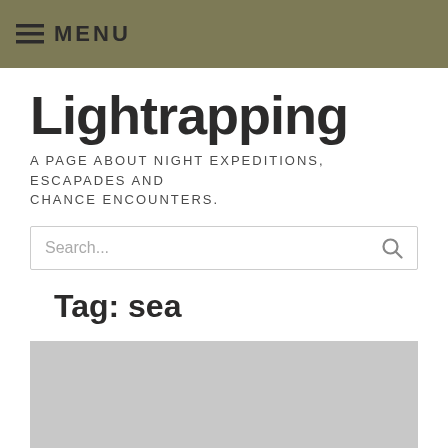MENU
Lightrapping
A PAGE ABOUT NIGHT EXPEDITIONS, ESCAPADES AND CHANCE ENCOUNTERS.
Tag: sea
[Figure (photo): Gray placeholder image area below the tag heading]